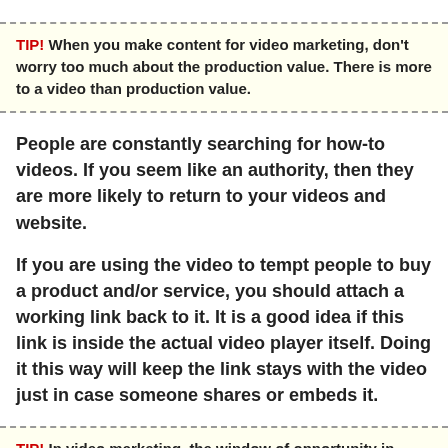TIP! When you make content for video marketing, don't worry too much about the production value. There is more to a video than production value.
People are constantly searching for how-to videos. If you seem like an authority, then they are more likely to return to your videos and website.
If you are using the video to tempt people to buy a product and/or service, you should attach a working link back to it. It is a good idea if this link is inside the actual video player itself. Doing it this way will keep the link stays with the video just in case someone shares or embeds it.
TIP! In video marketing, the window of opportunity in capturing